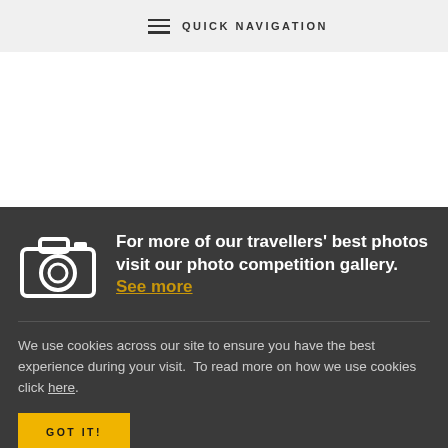QUICK NAVIGATION
[Figure (illustration): Camera icon in white]
For more of our travellers' best photos visit our photo competition gallery. See more
We use cookies across our site to ensure you have the best experience during your visit.  To read more on how we use cookies click here.
GOT IT!